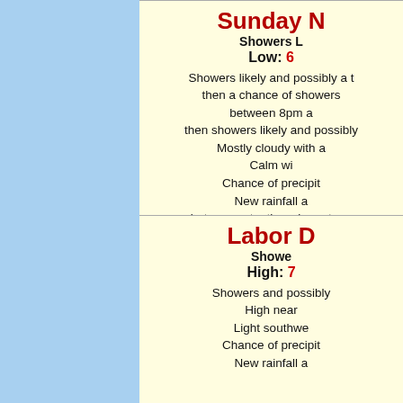Sunday N
Showers L
Low: 6
Showers likely and possibly a t then a chance of showers between 8pm a then showers likely and possibly. Mostly cloudy with a Calm wi Chance of precipit New rainfall a between a tenth and quarter c amounts possible in
Labor D
Showe High: 7 Showers and possibly High near Light southwe Chance of precipit New rainfall a